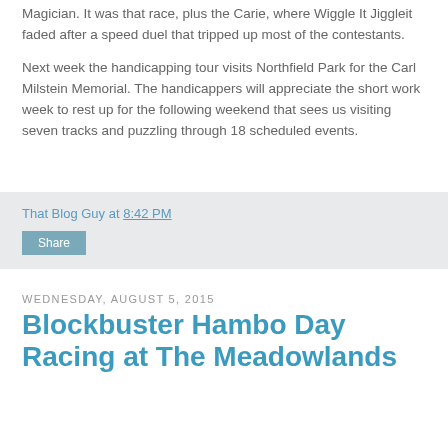Magician.  It was that race, plus the Carie, where Wiggle It Jiggleit faded after a speed duel that tripped up most of the contestants.
Next week the handicapping tour visits Northfield Park for the Carl Milstein Memorial.  The handicappers will appreciate the short work week to rest up for the following weekend that sees us visiting seven tracks and puzzling through 18 scheduled events.
That Blog Guy at 8:42 PM
Share
Wednesday, August 5, 2015
Blockbuster Hambo Day Racing at The Meadowlands